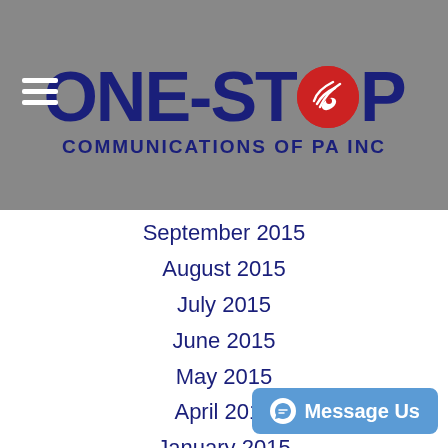[Figure (logo): One-Stop Communications of PA Inc logo with dark blue text and red circular satellite dish icon in the O of STOP, on a gray background]
September 2015
August 2015
July 2015
June 2015
May 2015
April 2015
January 2015
December 2014
November 2014
October 2014
September 2014
August 2014
July 2014
June 2014
May 2014
April 2014
March 2014